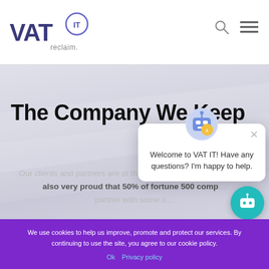VAT IT reclaim. [logo] [search icon] [menu icon]
The Company We Keep
Our clients and partners are at the centre of our business. We're also very proud that 50% of fortune 500 comp... partner with some o...
[Figure (screenshot): Chat popup with robot avatar saying 'Welcome to VAT IT! Have any questions? I'm happy to help.' with a close (x) button. Also a teal chat bot circle button bottom right.]
We use cookies to help us improve, promote and protect our services. By continuing to use the site, you agree to our cookie policy.
Ok   Privacy policy